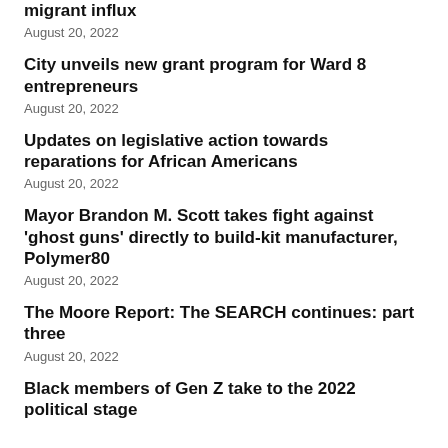migrant influx
August 20, 2022
City unveils new grant program for Ward 8 entrepreneurs
August 20, 2022
Updates on legislative action towards reparations for African Americans
August 20, 2022
Mayor Brandon M. Scott takes fight against 'ghost guns' directly to build-kit manufacturer, Polymer80
August 20, 2022
The Moore Report: The SEARCH continues: part three
August 20, 2022
Black members of Gen Z take to the 2022 political stage